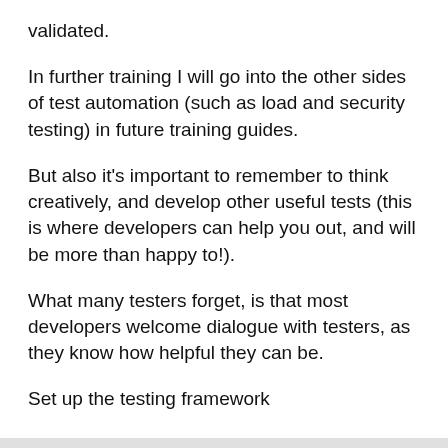validated.
In further training I will go into the other sides of test automation (such as load and security testing) in future training guides.
But also it’s important to remember to think creatively, and develop other useful tests (this is where developers can help you out, and will be more than happy to!).
What many testers forget, is that most developers welcome dialogue with testers, as they know how helpful they can be.
Set up the testing framework